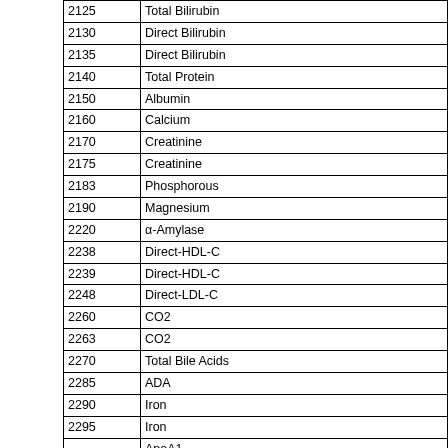| Code | Name |
| --- | --- |
| 2125 | Total Bilirubin |
| 2130 | Direct Bilirubin |
| 2135 | Direct Bilirubin |
| 2140 | Total Protein |
| 2150 | Albumin |
| 2160 | Calcium |
| 2170 | Creatinine |
| 2175 | Creatinine |
| 2183 | Phosphorous |
| 2190 | Magnesium |
| 2220 | α-Amylase |
| 2238 | Direct-HDL-C |
| 2239 | Direct-HDL-C |
| 2248 | Direct-LDL-C |
| 2260 | CO2 |
| 2263 | CO2 |
| 2270 | Total Bile Acids |
| 2285 | ADA |
| 2290 | Iron |
| 2295 | Iron |
| 9000 | ApoA1 / ApoB |
| 9005 | IgG |
| 9010 | IgA |
| 9015 | IgM |
| 9020 | C3 |
| 9025 | C4 |
| 9030 | TF |